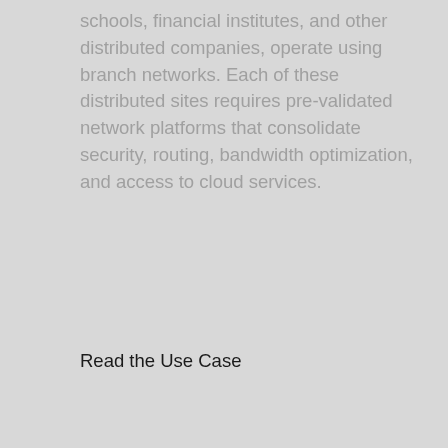schools, financial institutes, and other distributed companies, operate using branch networks. Each of these distributed sites requires pre-validated network platforms that consolidate security, routing, bandwidth optimization, and access to cloud services.
Read the Use Case